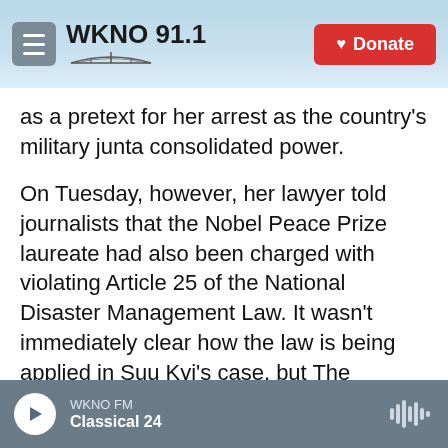WKNO 91.1 | Donate
as a pretext for her arrest as the country's military junta consolidated power.
On Tuesday, however, her lawyer told journalists that the Nobel Peace Prize laureate had also been charged with violating Article 25 of the National Disaster Management Law. It wasn't immediately clear how the law is being applied in Suu Kyi's case, but The Associated Press says it has been used in the past to prosecute individuals who violated coronavirus restrictions. The new charge falls under a revised penal code that was amended last week to allow detention without a court order.
WKNO FM | Classical 24